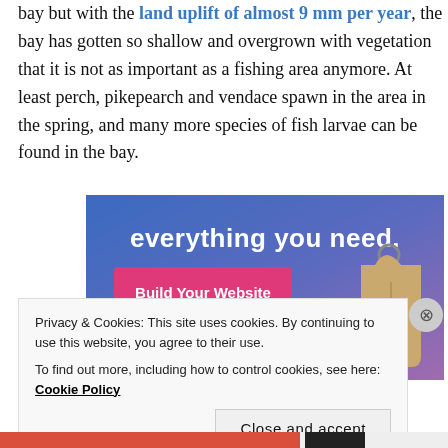bay but with the land uplift of almost 9 mm per year, the bay has gotten so shallow and overgrown with vegetation that it is not as important as a fishing area anymore. At least perch, pikeparch and vendace spawn in the area in the spring, and many more species of fish larvae can be found in the bay.
[Figure (screenshot): Advertisement banner with gradient blue-purple background showing 'everything you need.' text, a pink 'Build Your Website' button, and a price-tag graphic on the right.]
Privacy & Cookies: This site uses cookies. By continuing to use this website, you agree to their use.
To find out more, including how to control cookies, see here: Cookie Policy
Close and accept